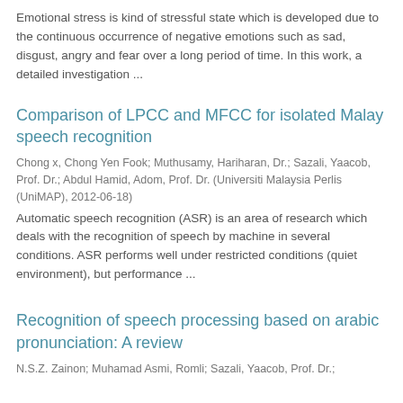Emotional stress is kind of stressful state which is developed due to the continuous occurrence of negative emotions such as sad, disgust, angry and fear over a long period of time. In this work, a detailed investigation ...
Comparison of LPCC and MFCC for isolated Malay speech recognition
Chong x, Chong Yen Fook; Muthusamy, Hariharan, Dr.; Sazali, Yaacob, Prof. Dr.; Abdul Hamid, Adom, Prof. Dr. (Universiti Malaysia Perlis (UniMAP), 2012-06-18)
Automatic speech recognition (ASR) is an area of research which deals with the recognition of speech by machine in several conditions. ASR performs well under restricted conditions (quiet environment), but performance ...
Recognition of speech processing based on arabic pronunciation: A review
N.S.Z. Zainon; Muhamad Asmi, Romli; Sazali, Yaacob, Prof. Dr.;